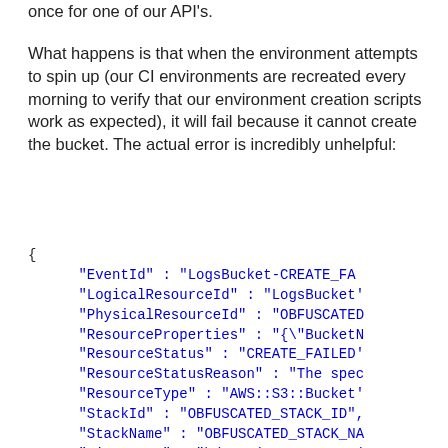once for one of our API's.
What happens is that when the environment attempts to spin up (our CI environments are recreated every morning to verify that our environment creation scripts work as expected), it will fail because it cannot create the bucket. The actual error is incredibly unhelpful:
{
    "EventId" : "LogsBucket-CREATE_FA..."
    "LogicalResourceId" : "LogsBucket"...
    "PhysicalResourceId" : "OBFUSCATED..."
    "ResourceProperties" : "{\"BucketN..."
    "ResourceStatus" : "CREATE_FAILED"...
    "ResourceStatusReason" : "The spec..."
    "ResourceType" : "AWS::S3::Bucket"...
    "StackId" : "OBFUSCATED_STACK_ID",...
    "StackName" : "OBFUSCATED_STACK_NA..."
    "Timestamp" : "\/Date(14465009959..."